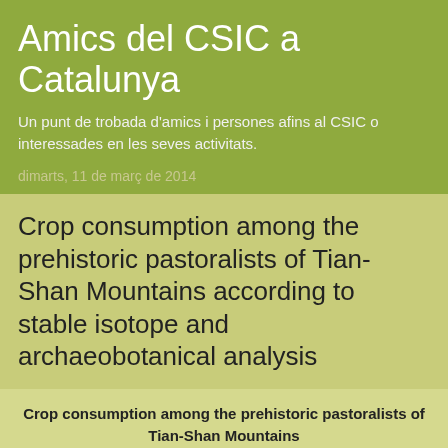Amics del CSIC a Catalunya
Un punt de trobada d'amics i persones afins al CSIC o interessades en les seves activitats.
dimarts, 11 de març de 2014
Crop consumption among the prehistoric pastoralists of Tian-Shan Mountains according to stable isotope and archaeobotanical analysis
Crop consumption among the prehistoric pastoralists of Tian-Shan Mountains according to stable isotope and archaeobotanical analysis